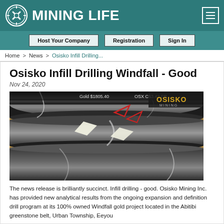MINING LIFE
Host Your Company | Registration | Sign In
Home > News > Osisko Infill Drilling...
Osisko Infill Drilling Windfall - Good
Nov 24, 2020
[Figure (photo): Close-up photograph of dark drill core samples arranged in rows with Osisko Mining branding visible in the upper right, and stock ticker overlay text showing Gold $1805.40, OSX C$3.42 FR]
The news release is brilliantly succinct. Infill drilling - good. Osisko Mining Inc. has provided new analytical results from the ongoing expansion and definition drill program at its 100% owned Windfall gold project located in the Abitibi greenstone belt, Urban Township, Eeyou